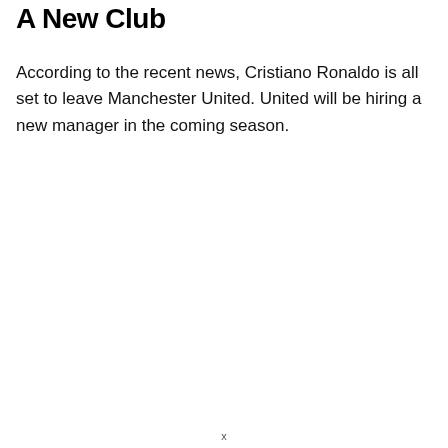A New Club
According to the recent news, Cristiano Ronaldo is all set to leave Manchester United. United will be hiring a new manager in the coming season.
x